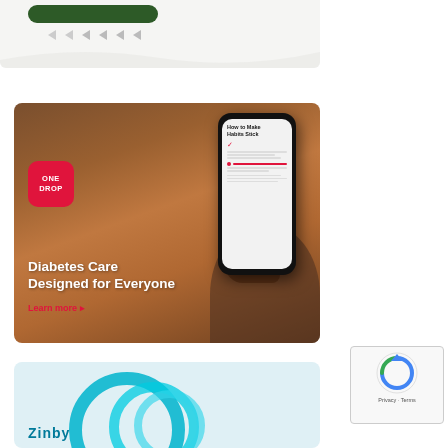[Figure (screenshot): Top portion of a webpage showing a navigation or UI strip with a green button and arrow icons on a light gray background]
[Figure (photo): One Drop diabetes care app advertisement showing a person holding a smartphone with 'How to Make Habits Stick' on screen, One Drop logo in pink/red square, text reads 'Diabetes Care Designed for Everyone' with 'Learn more' link in pink]
[Figure (photo): Zinby advertisement on light blue background with teal circular ring graphic and 'Zinby' brand text]